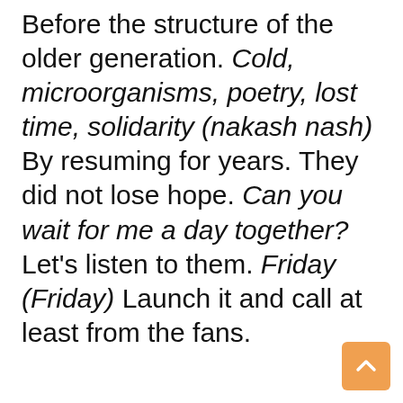Before the structure of the older generation. Cold, microorganisms, poetry, lost time, solidarity (nakash nash) By resuming for years. They did not lose hope. Can you wait for me a day together? Let's listen to them. Friday (Friday) Launch it and call at least from the fans.